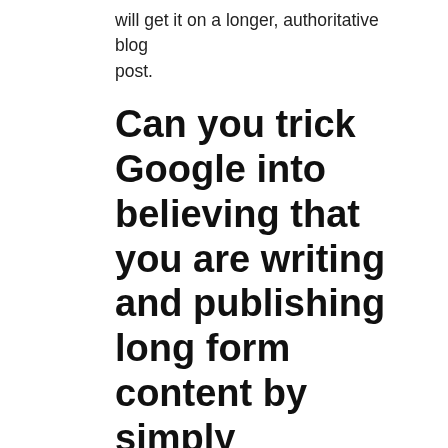will get it on a longer, authoritative blog post.
Can you trick Google into believing that you are writing and publishing long form content by simply repeating sentences and paragraphs?
You can try and see how it works. After all, you do and learn and then you relearn.